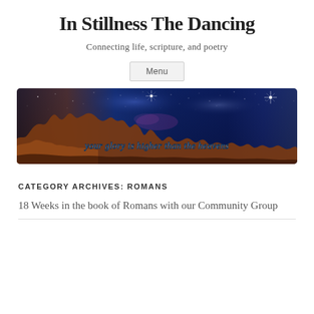In Stillness The Dancing
Connecting life, scripture, and poetry
Menu
[Figure (illustration): A wide-format nebula/space photo (Carina Nebula, JWST-style image) showing golden-brown cosmic cliffs against a deep blue starfield. Overlaid italic white text reads: your glory is higher than the heavens]
CATEGORY ARCHIVES: ROMANS
18 Weeks in the book of Romans with our Community Group